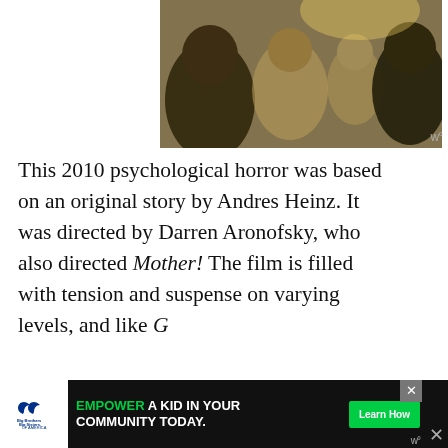[Figure (photo): Photo of a smiling Black family (woman, child, and man) outdoors with United Way logo overlay]
This 2010 psychological horror was based on an original story by Andres Heinz. It was directed by Darren Aronofsky, who also directed Mother! The film is filled with tension and suspense on varying levels, and like Get Out, you soon wonder what is really at play
The film follows the story of a young woman, N...